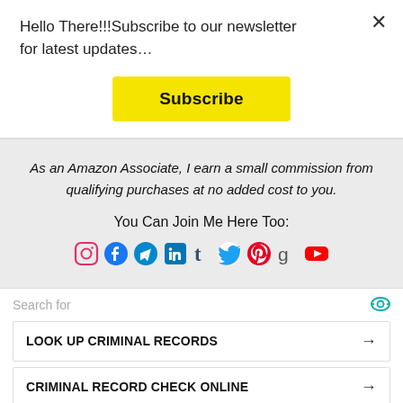Hello There!!!Subscribe to our newsletter for latest updates…
Subscribe
As an Amazon Associate, I earn a small commission from qualifying purchases at no added cost to you.
You Can Join Me Here Too:
[Figure (infographic): Row of social media icons: Instagram, Facebook, Telegram, LinkedIn, Tumblr, Twitter, Pinterest, Goodreads, YouTube]
Search for
LOOK UP CRIMINAL RECORDS →
CRIMINAL RECORD CHECK ONLINE →
Ad | Business Focus